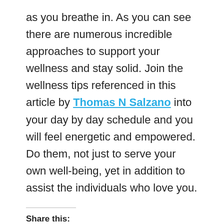as you breathe in. As you can see there are numerous incredible approaches to support your wellness and stay solid. Join the wellness tips referenced in this article by Thomas N Salzano into your day by day schedule and you will feel energetic and empowered. Do them, not just to serve your own well-being, yet in addition to assist the individuals who love you.
Share this:
LinkedIn  Twitter  Facebook  Tumblr  Pinterest
Like